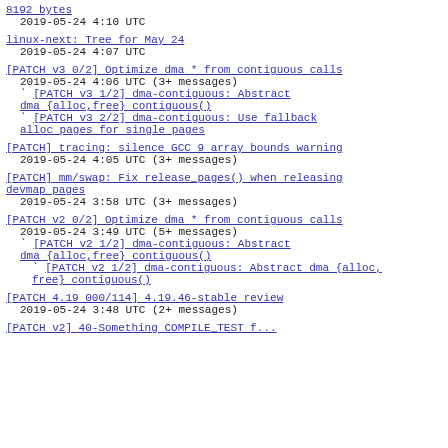8192 bytes
  2019-05-24  4:10 UTC
linux-next: Tree for May 24
  2019-05-24  4:07 UTC
[PATCH v3 0/2] Optimize dma * from contiguous calls
  2019-05-24  4:06 UTC  (3+ messages)
` [PATCH v3 1/2] dma-contiguous: Abstract dma {alloc,free} contiguous()
` [PATCH v3 2/2] dma-contiguous: Use fallback alloc pages for single pages
[PATCH] tracing: silence GCC 9 array bounds warning
  2019-05-24  4:05 UTC  (3+ messages)
[PATCH] mm/swap: Fix release_pages() when releasing devmap pages
  2019-05-24  3:58 UTC  (3+ messages)
[PATCH v2 0/2] Optimize dma * from contiguous calls
  2019-05-24  3:49 UTC  (5+ messages)
` [PATCH v2 1/2] dma-contiguous: Abstract dma {alloc,free} contiguous()
  ` [PATCH v2 1/2] dma-contiguous: Abstract dma {alloc, free} contiguous()
[PATCH 4.19 000/114] 4.19.46-stable review
  2019-05-24  3:48 UTC  (2+ messages)
[PATCH v2] 40-Something COMPILE_TEST f...